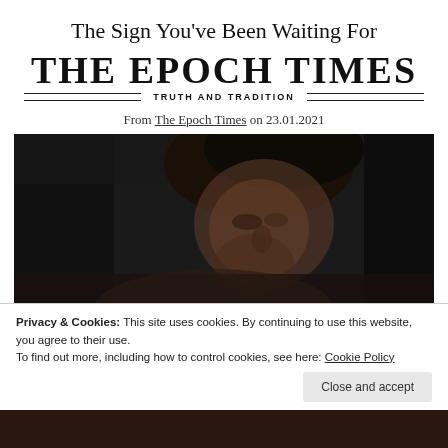The Sign You've Been Waiting For
[Figure (logo): The Epoch Times logo with 'TRUTH AND TRADITION' tagline and double rule lines]
From The Epoch Times on 23.01.2021
[Figure (photo): Dark photograph of a woman looking upward, dimly lit, close-up face shot]
Privacy & Cookies: This site uses cookies. By continuing to use this website, you agree to their use.
To find out more, including how to control cookies, see here: Cookie Policy
Close and accept